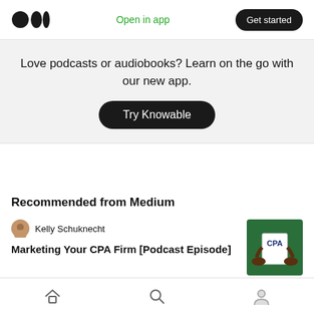Medium logo | Open in app | Get started
Love podcasts or audiobooks? Learn on the go with our new app.
Try Knowable
Recommended from Medium
Kelly Schuknecht
Marketing Your CPA Firm [Podcast Episode]
[Figure (photo): Green CPA podcast cover art with hands holding a document]
Home | Search | Profile